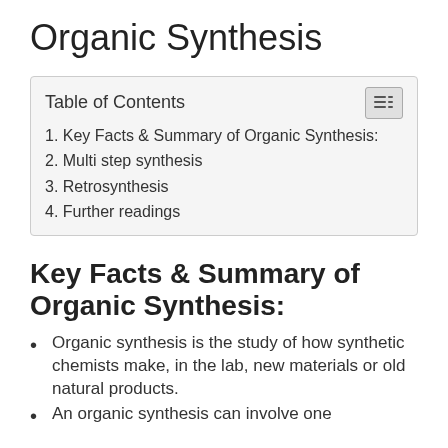Organic Synthesis
| Table of Contents |
| --- |
| 1. Key Facts & Summary of Organic Synthesis: |
| 2. Multi step synthesis |
| 3. Retrosynthesis |
| 4. Further readings |
Key Facts & Summary of Organic Synthesis:
Organic synthesis is the study of how synthetic chemists make, in the lab, new materials or old natural products.
An organic synthesis can involve one...